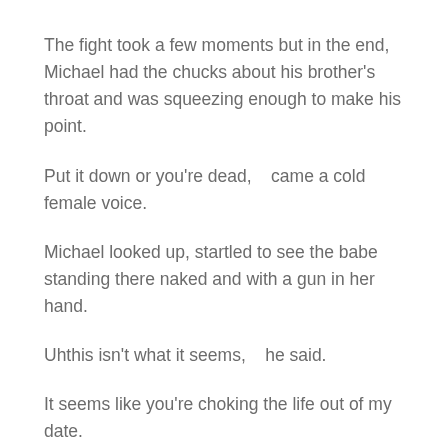The fight took a few moments but in the end, Michael had the chucks about his brother's throat and was squeezing enough to make his point.
Put it down or you're dead,   came a cold female voice.
Michael looked up, startled to see the babe standing there naked and with a gun in her hand.
Uhthis isn't what it seems,   he said.
It seems like you're choking the life out of my date.
Ah, well, yes. He slowly eased off his hold. He was about to explain when Jonathan exploded off the bed,